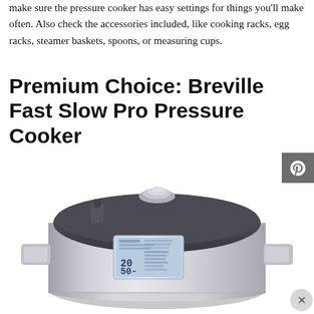make sure the pressure cooker has easy settings for things you'll make often. Also check the accessories included, like cooking racks, egg racks, steamer baskets, spoons, or measuring cups.
Premium Choice: Breville Fast Slow Pro Pressure Cooker
[Figure (photo): Photo of a Breville Fast Slow Pro Pressure Cooker — a stainless steel electric pressure cooker with a dark lid, control knob on top, LCD display panel on the front, and side handles.]